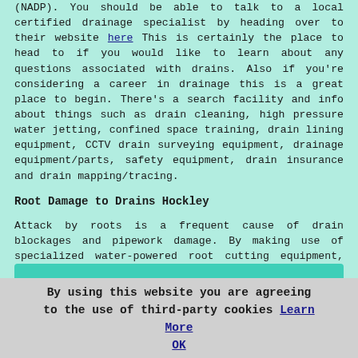(NADP). You should be able to talk to a local certified drainage specialist by heading over to their website here This is certainly the place to head to if you would like to learn about any questions associated with drains. Also if you're considering a career in drainage this is a great place to begin. There's a search facility and info about things such as drain cleaning, high pressure water jetting, confined space training, drain lining equipment, CCTV drain surveying equipment, drainage equipment/parts, safety equipment, drain insurance and drain mapping/tracing.
Root Damage to Drains Hockley
Attack by roots is a frequent cause of drain blockages and pipework damage. By making use of specialized water-powered root cutting equipment, such roots can soon be removed. In this way the roots can be removed without having to use costly excavation. This returns the drain to its full efficiency and restores the flow back to normal. To stop the roots from returning down the road, it is a good idea to carry out a drain lining treatment. Because root damage to drains is generally protected by property insurance, you may be able to make a claim.
By using this website you are agreeing to the use of third-party cookies Learn More OK